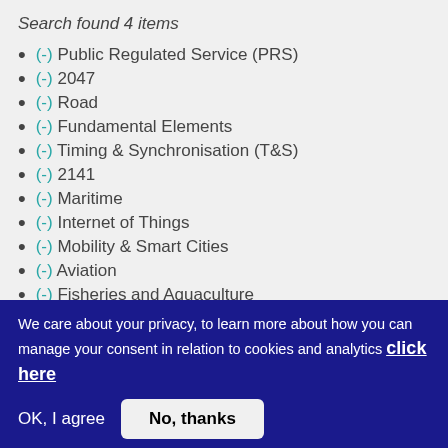Search found 4 items
(-) Public Regulated Service (PRS)
(-) 2047
(-) Road
(-) Fundamental Elements
(-) Timing & Synchronisation (T&S)
(-) 2141
(-) Maritime
(-) Internet of Things
(-) Mobility & Smart Cities
(-) Aviation
(-) Fisheries and Aquaculture
(-) Agriculture
We care about your privacy, to learn more about how you can manage your consent in relation to cookies and analytics click here
OK, I agree   No, thanks